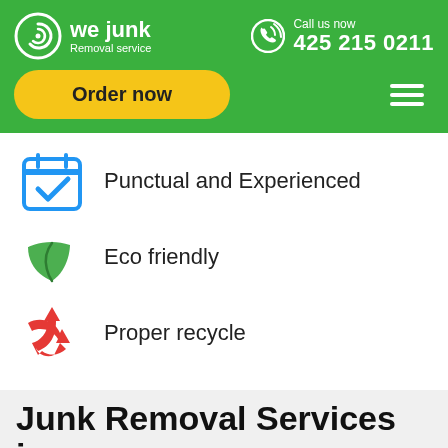[Figure (logo): We Junk Removal Service logo with spiral icon]
Call us now
425 215 0211
Order now
Punctual and Experienced
Eco friendly
Proper recycle
Junk Removal Services in